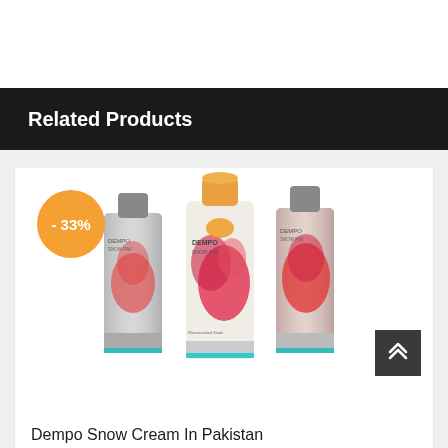Related Products
[Figure (photo): Three tubes of Dempo Snow Cream product with floral packaging design, displayed together. An orange circular badge in the top-left reads '- 33%'.]
Dempo Snow Cream In Pakistan